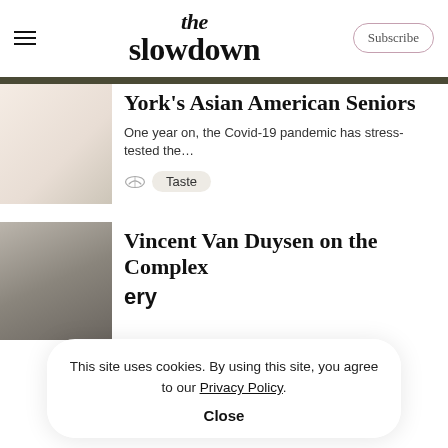the slowdown
York's Asian American Seniors
One year on, the Covid-19 pandemic has stress-tested the...
Taste
Vincent Van Duysen on the Complex
This site uses cookies. By using this site, you agree to our Privacy Policy. Close